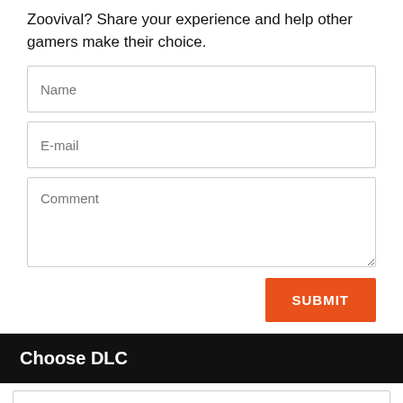Zoovival? Share your experience and help other gamers make their choice.
[Figure (screenshot): Web form with Name, E-mail, and Comment input fields]
[Figure (other): Orange SUBMIT button aligned to the right]
Choose DLC
KING OF THE EGGS